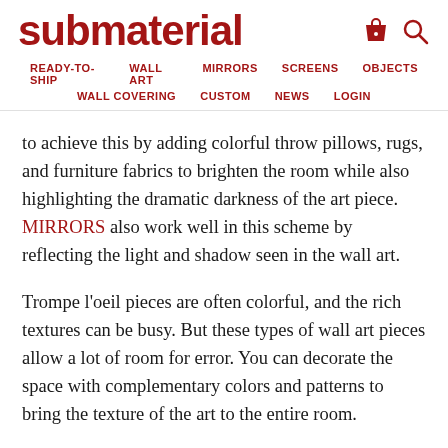submaterial
READY-TO-SHIP   WALL ART   MIRRORS   SCREENS   OBJECTS   WALL COVERING   CUSTOM   NEWS   LOGIN
to achieve this by adding colorful throw pillows, rugs, and furniture fabrics to brighten the room while also highlighting the dramatic darkness of the art piece. MIRRORS also work well in this scheme by reflecting the light and shadow seen in the wall art.
Trompe l’oeil pieces are often colorful, and the rich textures can be busy. But these types of wall art pieces allow a lot of room for error. You can decorate the space with complementary colors and patterns to bring the texture of the art to the entire room.
Bold, best like a rich and for a special